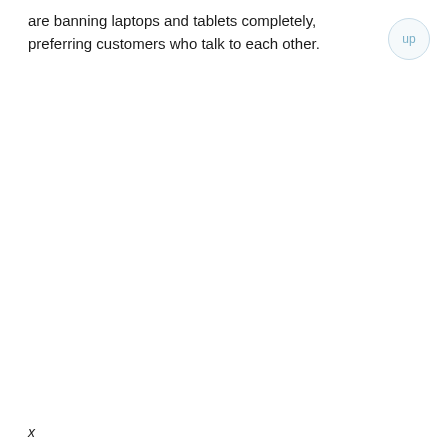are banning laptops and tablets completely, preferring customers who talk to each other.
x